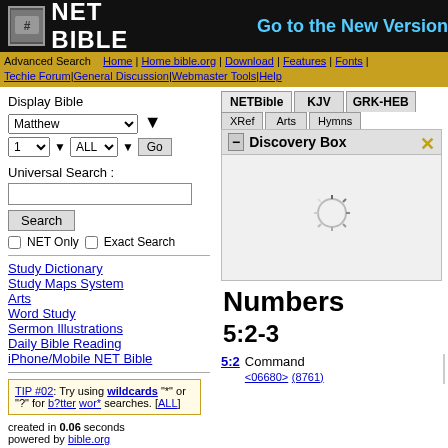[Figure (screenshot): NET Bible website header with logo and 'Go to the New Version' link]
Advanced Search | Home | Home bible.org | Download | Features | Fonts | Techie Forum | General Discussion | Webmaster Tools | Help
Display Bible
Matthew [dropdown] 1 ALL Go
Universal Search :
[Search input] Search  NET Only  Exact Search
Study Dictionary
Study Maps System
Arts
Word Study
Sermon Illustrations
Daily Bible Reading
iPhone/Mobile NET Bible
TIP #02: Try using wildcards "*" or "?" for b?tter wor* searches. [ALL]
created in 0.06 seconds
powered by bible.org
[Figure (screenshot): Discovery Box panel with loading spinner, tabs: NETBible, KJV, GRK-HEB, XRef, Arts, Hymns]
Numbers 5:2-3
5:2  Command <06680> (8761)